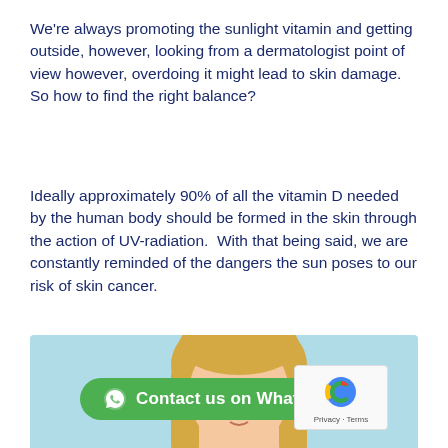We're always promoting the sunlight vitamin and getting outside, however, looking from a dermatologist point of view however, overdoing it might lead to skin damage.  So how to find the right balance?
Ideally approximately 90% of all the vitamin D needed by the human body should be formed in the skin through the action of UV-radiation.  With that being said, we are constantly reminded of the dangers the sun poses to our risk of skin cancer.
[Figure (photo): Photo of a blonde woman from shoulders up against a light blue background, with a green WhatsApp contact button overlay at the bottom and a reCAPTCHA badge in the bottom right corner.]